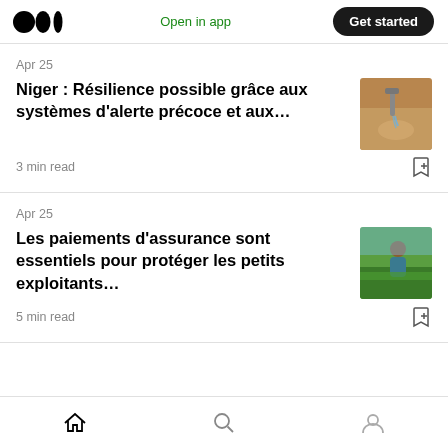Medium — Open in app | Get started
Apr 25
Niger : Résilience possible grâce aux systèmes d'alerte précoce et aux…
3 min read
Apr 25
Les paiements d'assurance sont essentiels pour protéger les petits exploitants…
5 min read
Home | Search | Profile